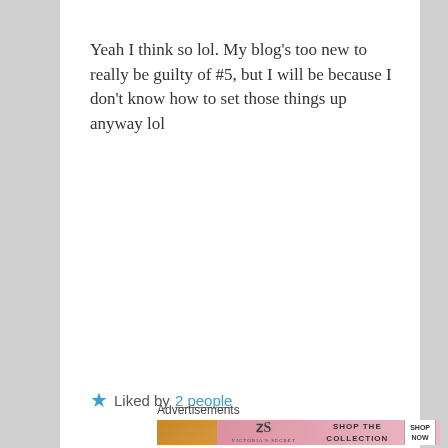Yeah I think so lol. My blog's too new to really be guilty of #5, but I will be because I don't know how to set those things up anyway lol
★ Liked by 2 people
Just Plain Ol' Vic on May 25, 2015 at 1:38 pm said:
[Figure (photo): Victoria's Secret advertisement banner with a woman's face, VS logo, 'SHOP THE COLLECTION' text and 'SHOP NOW' button]
Advertisements